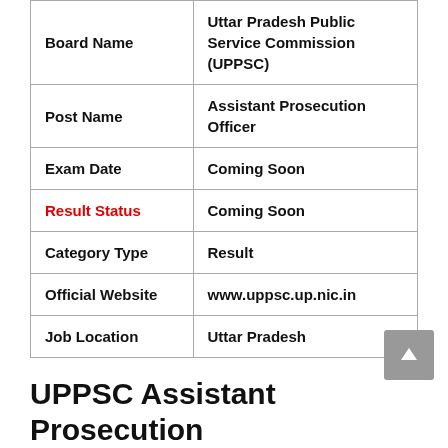| Field | Value |
| --- | --- |
| Board Name | Uttar Pradesh Public Service Commission (UPPSC) |
| Post Name | Assistant Prosecution Officer |
| Exam Date | Coming Soon |
| Result Status | Coming Soon |
| Category Type | Result |
| Official Website | www.uppsc.up.nic.in |
| Job Location | Uttar Pradesh |
UPPSC Assistant Prosecution